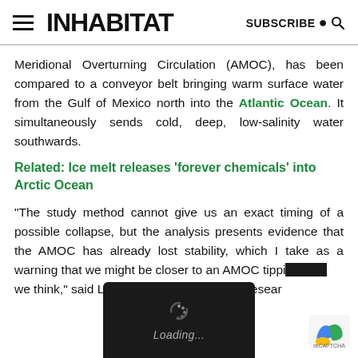INHABITAT  SUBSCRIBE
Meridional Overturning Circulation (AMOC), has been compared to a conveyor belt bringing warm surface water from the Gulf of Mexico north into the Atlantic Ocean. It simultaneously sends cold, deep, low-salinity water southwards.
Related: Ice melt releases ‘forever chemicals’ into Arctic Ocean
“The study method cannot give us an exact timing of a possible collapse, but the analysis presents evidence that the AMOC has already lost stability, which I take as a warning that we might be closer to an AMOC tipping than we think,” said Levke … doctoral resear…
[Figure (other): Loading overlay with dark background and spinner icon, plus reCAPTCHA logo in bottom right corner]